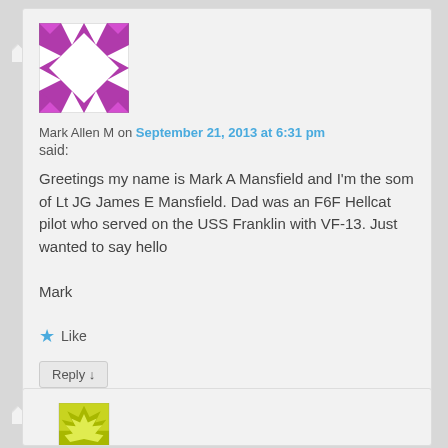[Figure (illustration): Purple quilt-pattern avatar icon for Mark Allen M]
Mark Allen M on September 21, 2013 at 6:31 pm
said:
Greetings my name is Mark A Mansfield and I'm the som of Lt JG James E Mansfield. Dad was an F6F Hellcat pilot who served on the USS Franklin with VF-13. Just wanted to say hello

Mark
★ Like
Reply ↓
[Figure (illustration): Yellow-green jagged avatar icon for second commenter]